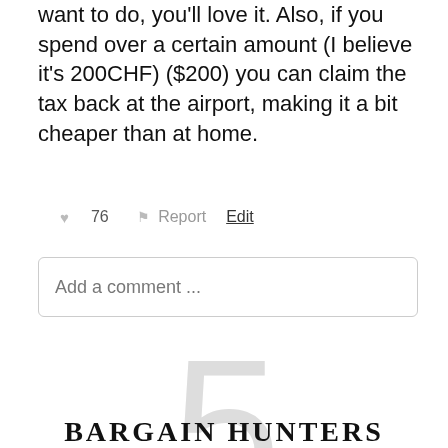want to do, you'll love it. Also, if you spend over a certain amount (I believe it's 200CHF) ($200) you can claim the tax back at the airport, making it a bit cheaper than at home.
♥ 76   ⚑ Report   Edit
Add a comment ...
5
BARGAIN HUNTERS